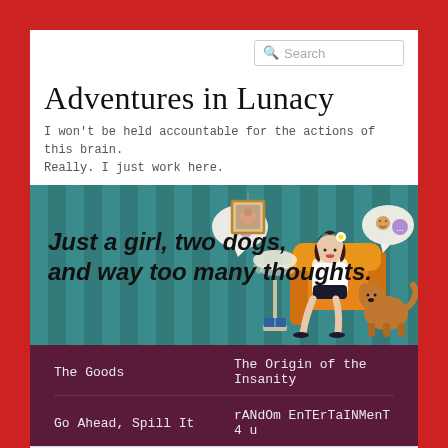Adventures in Lunacy
I won't be held accountable for the actions of this brain. Really. I just work here.
[Figure (illustration): Blog banner image with teal/green striped background showing a cartoon woman sitting in an orange chair with a dog, speech bubbles, and a framed photo. Text overlay reads: Just a girl, two dogs, and way too many thoughts.]
The Goods
The Origin of the Insanity
Go Ahead, Spill It
rANdOm EnTErTaINMenT 4 u
Follow ...